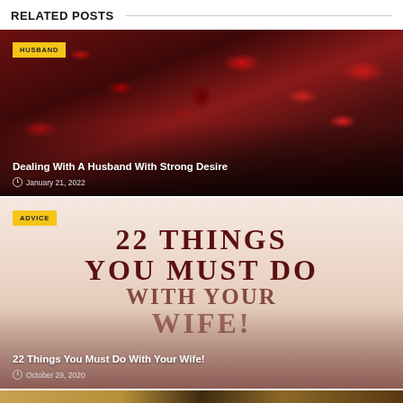RELATED POSTS
[Figure (photo): Dark romantic photo of scattered red rose petals on a surface with overlay text 'Dealing With A Husband With Strong Desire' and date January 21, 2022, tagged HUSBAND]
[Figure (photo): Beige/pink background with large dark red serif text '22 THINGS YOU MUST DO WITH YOUR WIFE!' and overlay text '22 Things You Must Do With Your Wife!' and date October 29, 2020, tagged ADVICE]
[Figure (photo): Partial view of a third post with golden/brown tones, partially cut off at bottom of page]